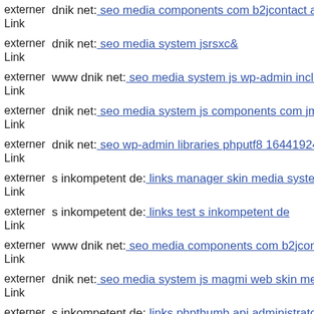externer Link dnik net: seo media components com b2jcontact administra
externer Link dnik net: seo media system jsrsxc&
externer Link www dnik net: seo media system js wp-admin includes plug
externer Link dnik net: seo media system js components com jmultimedia
externer Link dnik net: seo wp-admin libraries phputf8 1644192415
externer Link s inkompetent de: links manager skin media system js wp-c
externer Link s inkompetent de: links test s inkompetent de
externer Link www dnik net: seo media components com b2jcontact wp-c
externer Link dnik net: seo media system js magmi web skin media wp-re
externer Link s inkompetent de: links phpthumb api administrator thumb
externer Link dnik net: seo media includes images
externer